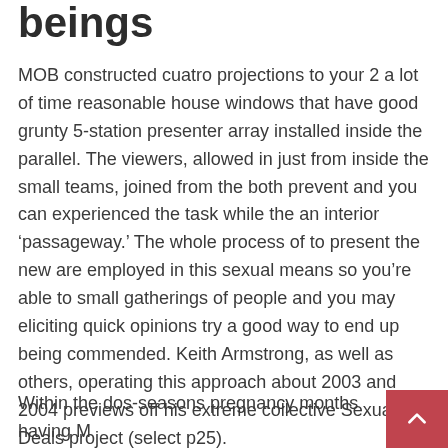beings
MOB constructed cuatro projections to your 2 a lot of time reasonable house windows that have good grunty 5-station presenter array installed inside the parallel. The viewers, allowed in just from inside the small teams, joined from the both prevent and you can experienced the task while the an interior ‘passageway.’ The whole process of to present the new are employed in this sexual means so you’re able to small gatherings of people and you may eliciting quick opinions try a good way to end up being commended. Keith Armstrong, as well as others, operating this approach about 2003 and 2004 previews off his extreme collective Sexual Deals project (select p25).
Within the dos-seasons pregnancy months having M